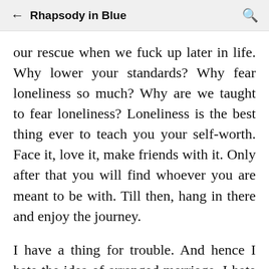Rhapsody in Blue
our rescue when we fuck up later in life. Why lower your standards? Why fear loneliness so much? Why are we taught to fear loneliness? Loneliness is the best thing ever to teach you your self-worth. Face it, love it, make friends with it. Only after that you will find whoever you are meant to be with. Till then, hang in there and enjoy the journey.
I have a thing for trouble. And hence I hate the idea of arranged marriage. I hate 'nice guys'. I get bored too fast. My close friends